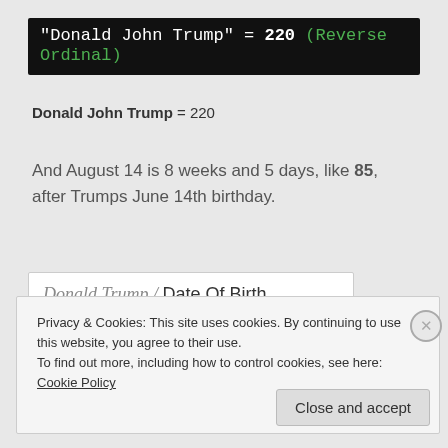"Donald John Trump" = 220 (Reverse Ordinal)
Donald John Trump = 220
And August 14 is 8 weeks and 5 days, like 85, after Trumps June 14th birthday.
Donald Trump / Date Of Birth
Privacy & Cookies: This site uses cookies. By continuing to use this website, you agree to their use.
To find out more, including how to control cookies, see here: Cookie Policy
Close and accept